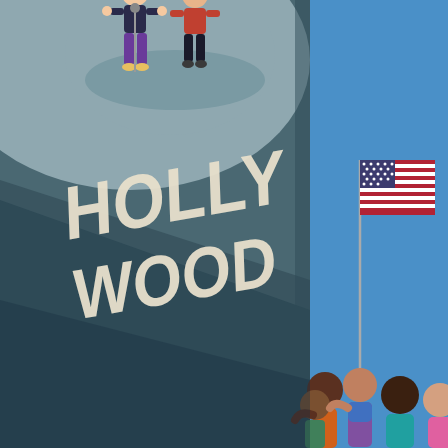[Figure (illustration): An illustration showing two panels side by side. The left panel (roughly two-thirds of the image) shows a stylized perspective view of the Hollywood sign on a dark teal/slate-colored hillside. The letters H, O, L, L, Y, W, O, O, D are rendered in a cream/off-white color in a dramatic angled perspective as if viewed from below. Above the sign, partially visible, are two illustrated figures – one in purple pants and one with orange/yellow hair – standing on a circular gray platform, appearing to be celebrities or stars. The right panel (roughly one-third) has a bright blue background and shows an American flag on a pole in the upper portion, and in the lower portion, the tops of several illustrated diverse figures/people (a crowd), partially cropped.]